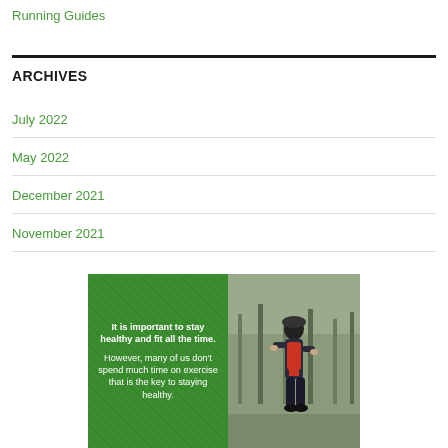Running Guides
ARCHIVES
July 2022
May 2022
December 2021
November 2021
[Figure (infographic): Split infographic showing a runner from behind in a forest on the right, and green background with text on the left reading: 'It is important to stay healthy and fit all the time. However, many of us don't spend much time on exercise that is the key to staying healthy.']